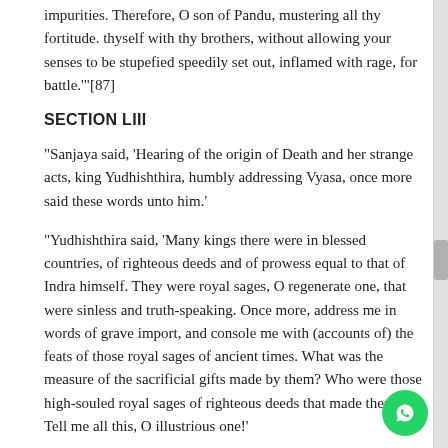impurities. Therefore, O son of Pandu, mustering all thy fortitude. thyself with thy brothers, without allowing your senses to be stupefied speedily set out, inflamed with rage, for battle.'"[87]
SECTION LIII
"Sanjaya said, 'Hearing of the origin of Death and her strange acts, king Yudhishthira, humbly addressing Vyasa, once more said these words unto him.'
"Yudhishthira said, 'Many kings there were in blessed countries, of righteous deeds and of prowess equal to that of Indra himself. They were royal sages, O regenerate one, that were sinless and truth-speaking. Once more, address me in words of grave import, and console me with (accounts of) the feats of those royal sages of ancient times. What was the measure of the sacrificial gifts made by them? Who were those high-souled royal sages of righteous deeds that made them? Tell me all this, O illustrious one!'
'More said, There are kings of the name of Sarion. He doth...